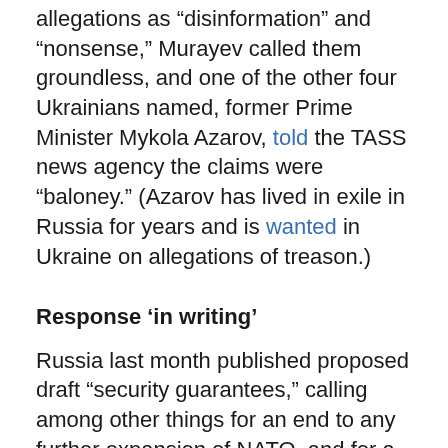allegations as “disinformation” and “nonsense,” Murayev called them groundless, and one of the other four Ukrainians named, former Prime Minister Mykola Azarov, told the TASS news agency the claims were “baloney.” (Azarov has lived in exile in Russia for years and is wanted in Ukraine on allegations of treason.)
Response ‘in writing’
Russia last month published proposed draft “security guarantees,” calling among other things for an end to any further expansion of NATO, and for a halt to deployment of